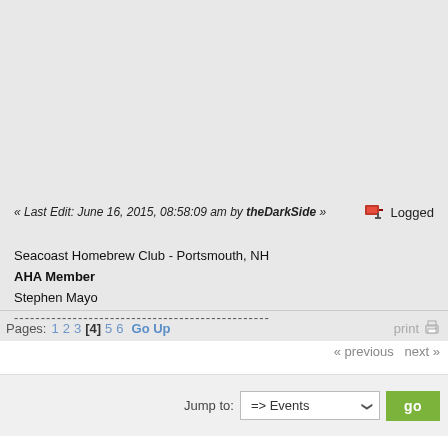« Last Edit: June 16, 2015, 08:58:09 am by theDarkSide »   Logged
Seacoast Homebrew Club - Portsmouth, NH
AHA Member
Stephen Mayo
------------------------------------------------
Pages: 1 2 3 [4] 5 6  Go Up    print
« previous next »
Jump to:  => Events  go